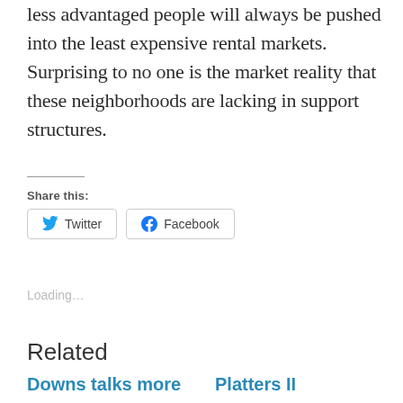less advantaged people will always be pushed into the least expensive rental markets. Surprising to no one is the market reality that these neighborhoods are lacking in support structures.
Share this:
[Figure (other): Twitter and Facebook share buttons]
Loading…
Related
Downs talks more
Platters II